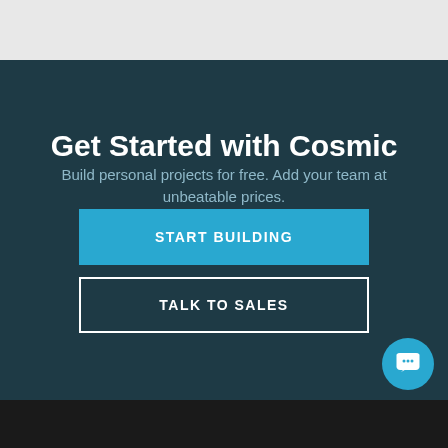Get Started with Cosmic
Build personal projects for free. Add your team at unbeatable prices.
START BUILDING
TALK TO SALES